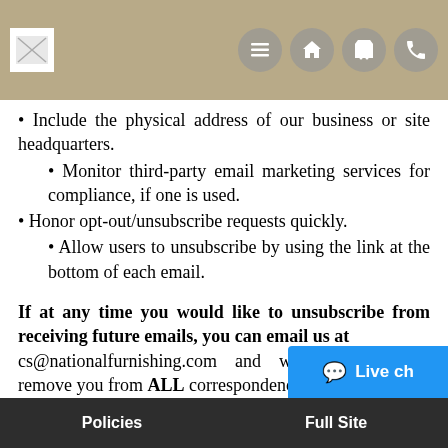National Furnishing navigation header
Include the physical address of our business or site headquarters.
Monitor third-party email marketing services for compliance, if one is used.
Honor opt-out/unsubscribe requests quickly.
Allow users to unsubscribe by using the link at the bottom of each email.
If at any time you would like to unsubscribe from receiving future emails, you can email us at cs@nationalfurnishing.com and we will promptly remove you from ALL correspondence.
Contacting Us
If there are any questions regarding this privacy policy, you may contact us using the information below.
https://www.nationalfurnishing.com
Policies   Full Site